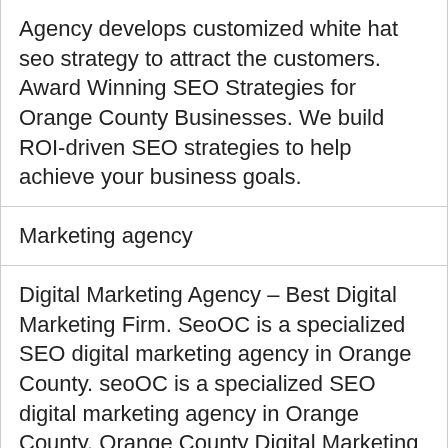Agency develops customized white hat seo strategy to attract the customers. Award Winning SEO Strategies for Orange County Businesses. We build ROI-driven SEO strategies to help achieve your business goals.
Marketing agency
Digital Marketing Agency – Best Digital Marketing Firm. SeoOC is a specialized SEO digital marketing agency in Orange County. seoOC is a specialized SEO digital marketing agency in Orange County. Orange County Digital Marketing Agency.Distinguished Orange County Digital Marketing, Web Design.
Ad Marketing Agency